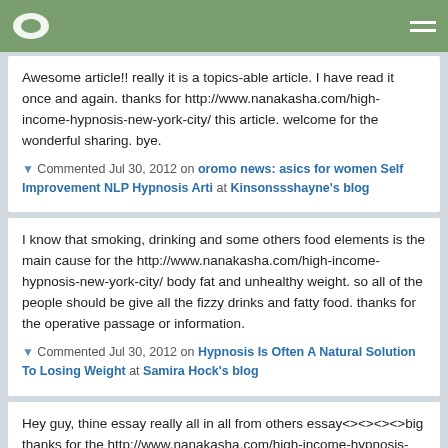Navigation header with logo and menu icon
Awesome article!! really it is a topics-able article. I have read it once and again. thanks for http://www.nanakasha.com/high-income-hypnosis-new-york-city/ this article. welcome for the wonderful sharing. bye.
Commented Jul 30, 2012 on oromo news: asics for women Self Improvement NLP Hypnosis Arti at Kinsonssshayne's blog
I know that smoking, drinking and some others food elements is the main cause for the http://www.nanakasha.com/high-income-hypnosis-new-york-city/ body fat and unhealthy weight. so all of the people should be give all the fizzy drinks and fatty food. thanks for the operative passage or information.
Commented Jul 30, 2012 on Hypnosis Is Often A Natural Solution To Losing Weight at Samira Hock's blog
Hey guy, thine essay really all in all from others essay<><><><>big thanks for the http://www.nanakasha.com/high-income-hypnosis-new-york-city/ latest essay<><> i have take some tips from in